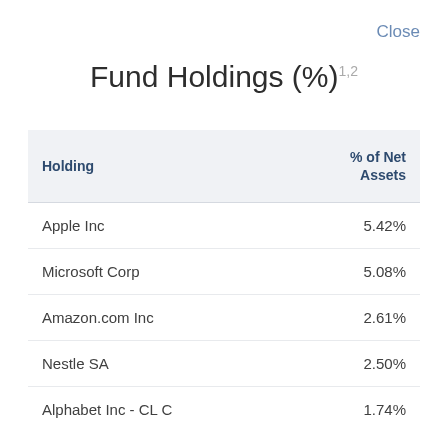Close
Fund Holdings (%)1,2
| Holding | % of Net Assets |
| --- | --- |
| Apple Inc | 5.42% |
| Microsoft Corp | 5.08% |
| Amazon.com Inc | 2.61% |
| Nestle SA | 2.50% |
| Alphabet Inc - CL C | 1.74% |